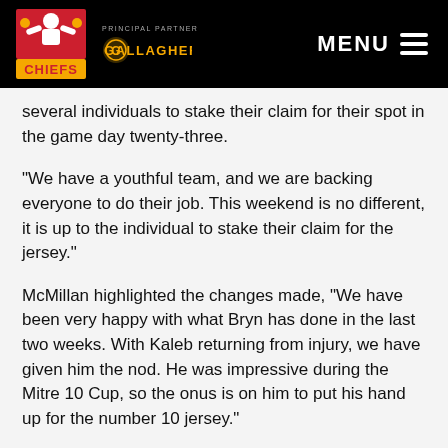[Figure (logo): Gallagher Chiefs rugby team header with Chiefs logo, PRINCIPAL PARTNER text, Gallagher logo, and MENU button on black background]
several individuals to stake their claim for their spot in the game day twenty-three.
“We have a youthful team, and we are backing everyone to do their job. This weekend is no different, it is up to the individual to stake their claim for the jersey.”
McMillan highlighted the changes made, “We have been very happy with what Bryn has done in the last two weeks. With Kaleb returning from injury, we have given him the nod. He was impressive during the Mitre 10 Cup, so the onus is on him to put his hand up for the number 10 jersey.”
McMillan continued, “There is a need for rotation in the